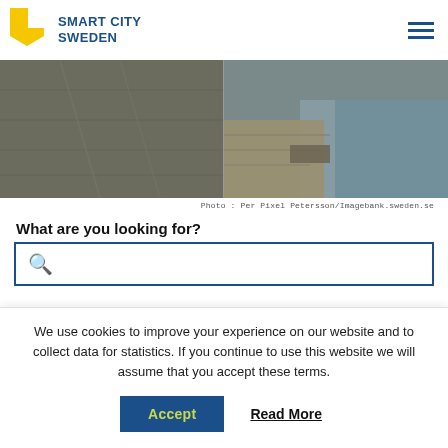[Figure (logo): Smart City Sweden logo with yellow bookmark-shaped icon and blue text]
[Figure (photo): Aerial/overhead view of a dock or waterfront area with stone paving and water, showing a split-panel image. Contains a white downward arrow overlay.]
Photo : Per Pixel Petersson/Imagebank.sweden.se
What are you looking for?
We use cookies to improve your experience on our website and to collect data for statistics. If you continue to use this website we will assume that you accept these terms.